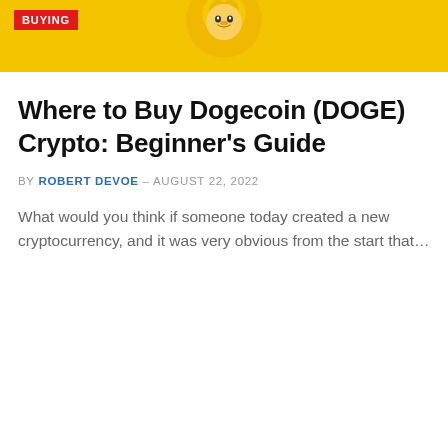[Figure (photo): Yellow banner hero image with a Dogecoin/Shiba Inu dog graphic in the center and a red 'BUYING' badge in the top-left corner]
Where to Buy Dogecoin (DOGE) Crypto: Beginner's Guide
BY ROBERT DEVOE - AUGUST 22, 2022
What would you think if someone today created a new cryptocurrency, and it was very obvious from the start that…